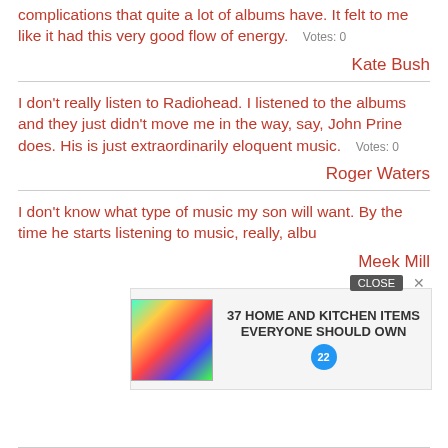complications that quite a lot of albums have. It felt to me like it had this very good flow of energy.  Votes: 0
Kate Bush
I don't really listen to Radiohead. I listened to the albums and they just didn't move me in the way, say, John Prine does. His is just extraordinarily eloquent music.  Votes: 0
Roger Waters
I don't know what type of music my son will want. By the time he starts listening to music, really, albu...
Meek Mill